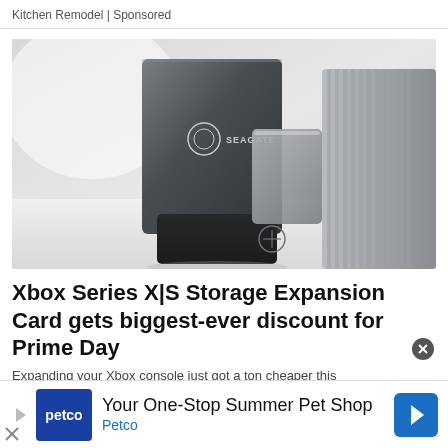Kitchen Remodel | Sponsored
[Figure (photo): Seagate Xbox Series X|S Storage Expansion Card product photo on white surface with Xbox controller dock and card case]
Xbox Series X|S Storage Expansion Card gets biggest-ever discount for Prime Day
Expanding your Xbox console just got a ton cheaper this
[Figure (infographic): Petco advertisement banner: Your One-Stop Summer Pet Shop, Petco, with Petco logo and navigation arrow icon]